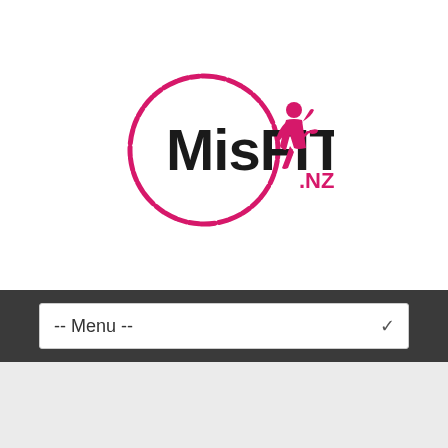[Figure (logo): MisFIT NZ logo: pink circle outline with bold black text 'MisFIT' and pink running woman silhouette and '.NZ' text]
-- Menu --